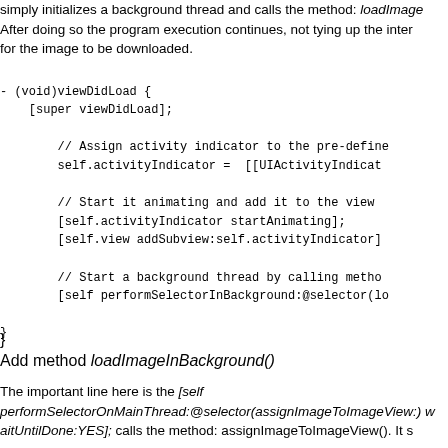simply initializes a background thread and calls the method: loadImage After doing so the program execution continues, not tying up the inter for the image to be downloaded.
[Figure (screenshot): Code block showing Objective-C viewDidLoad method with activity indicator setup and background thread call]
}
Add method loadImageInBackground()
The important line here is the [self performSelectorOnMainThread:@selector(assignImageToImageView:) w waitUntilDone:YES]; calls the method: assignImageToImageView(). It s